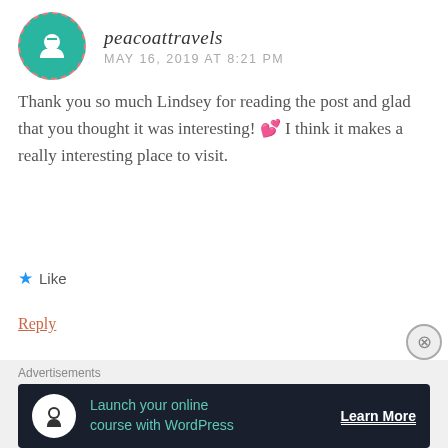peacoattravels — MAY 16, 2019 AT 8:21 PM
Thank you so much Lindsey for reading the post and glad that you thought it was interesting! 💕 I think it makes a really interesting place to visit.
★ Like
Reply
stromfieldadventuresgmailcom — MAY 21, 2019 AT 11:53 AM
Advertisements
Launch your online course with WordPress — Learn More